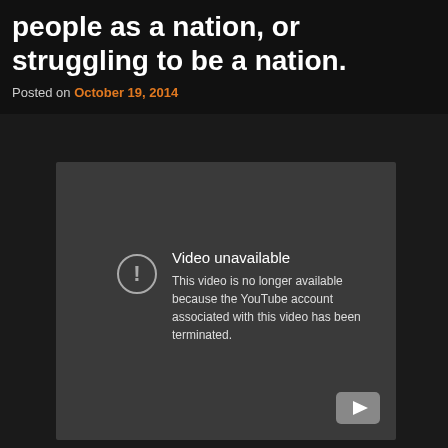people as a nation, or struggling to be a nation.
Posted on October 19, 2014
[Figure (screenshot): YouTube video unavailable error screen. Shows a circle with exclamation mark icon, title 'Video unavailable', and message 'This video is no longer available because the YouTube account associated with this video has been terminated.' YouTube logo in bottom right corner.]